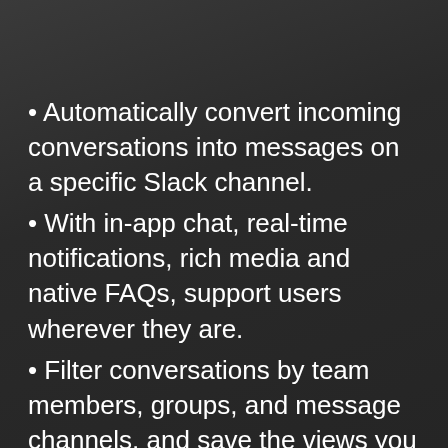Automatically convert incoming conversations into messages on a specific Slack channel.
With in-app chat, real-time notifications, rich media and native FAQs, support users wherever they are.
Filter conversations by team members, groups, and message channels, and save the views you access frequently.